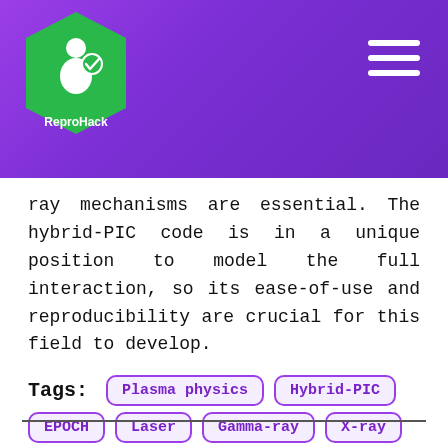[Figure (logo): ReproHack logo badge — green hexagon with white figure and checkmark, white text 'ReproHack' on purple background header with hamburger menu icon]
ray mechanisms are essential. The hybrid-PIC code is in a unique position to model the full interaction, so its ease-of-use and reproducibility are crucial for this field to develop.
Tags: Plasma physics  Hybrid-PIC  EPOCH  Laser  Gamma-ray  X-ray  radiation  Petawatt  Fortran  plasma  PIC  physics